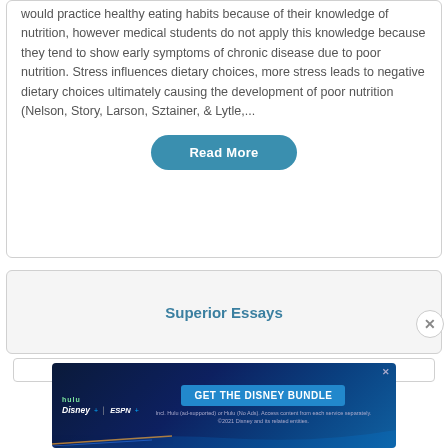would practice healthy eating habits because of their knowledge of nutrition, however medical students do not apply this knowledge because they tend to show early symptoms of chronic disease due to poor nutrition. Stress influences dietary choices, more stress leads to negative dietary choices ultimately causing the development of poor nutrition (Nelson, Story, Larson, Sztainer, & Lytle,...
Read More
Superior Essays
[Figure (screenshot): Advertisement banner for Disney Bundle featuring Hulu, Disney+, and ESPN+ logos with text 'GET THE DISNEY BUNDLE' and fine print about subscription terms.]